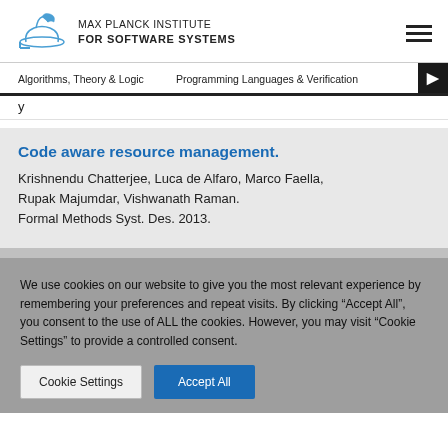MAX PLANCK INSTITUTE FOR SOFTWARE SYSTEMS
Algorithms, Theory & Logic   Programming Languages & Verification
Code aware resource management.
Krishnendu Chatterjee, Luca de Alfaro, Marco Faella, Rupak Majumdar, Vishwanath Raman.
Formal Methods Syst. Des. 2013.
We use cookies on our website to give you the most relevant experience by remembering your preferences and repeat visits. By clicking "Accept All", you consent to the use of ALL the cookies. However, you may visit "Cookie Settings" to provide a controlled consent.